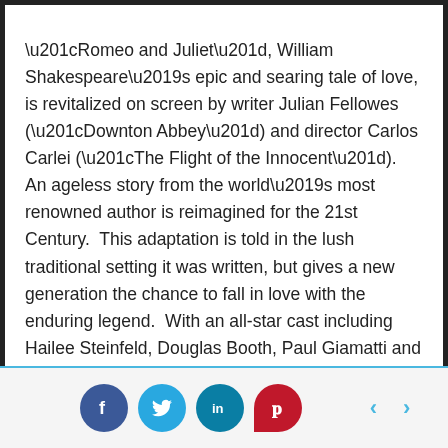“Romeo and Juliet”, William Shakespeare’s epic and searing tale of love, is revitalized on screen by writer Julian Fellowes (“Downton Abbey”) and director Carlos Carlei (“The Flight of the Innocent”).  An ageless story from the world’s most renowned author is reimagined for the 21st Century.  This adaptation is told in the lush traditional setting it was written, but gives a new generation the chance to fall in love with the enduring legend.  With an all-star cast including Hailee Steinfeld, Douglas Booth, Paul Giamatti and Stellan Skarsgard, it affords those unfamiliar with the tale the chance to put faces to the two names they’ve undoubtedly heard innumerable times: Romeo and Juliet.  Every generation deserves to discover this lasting love.
[Figure (other): Social media share buttons: Facebook (dark blue circle), Twitter (light blue circle), LinkedIn (teal circle), Pinterest (red teardrop shape), and left/right navigation arrows in light blue.]